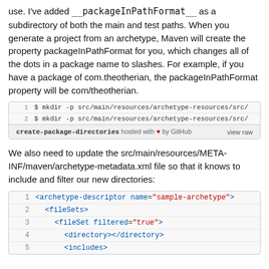use. I've added __packageInPathFormat__ as a subdirectory of both the main and test paths. When you generate a project from an archetype, Maven will create the property packageInPathFormat for you, which changes all of the dots in a package name to slashes. For example, if you have a package of com.theotherian, the packageInPathFormat property will be com/theotherian.
[Figure (screenshot): Code block showing two mkdir commands: 1) $ mkdir -p src/main/resources/archetype-resources/src/ 2) $ mkdir -p src/main/resources/archetype-resources/src/ Footer: create-package-directories hosted with heart by GitHub | view raw]
We also need to update the src/main/resources/META-INF/maven/archetype-metadata.xml file so that it knows to include and filter our new directories:
[Figure (screenshot): XML code block showing lines 1-5: 1: <archetype-descriptor name="sample-archetype"> 2: <fileSets> 3: <fileSet filtered="true"> 4: <directory></directory> 5: <includes>]